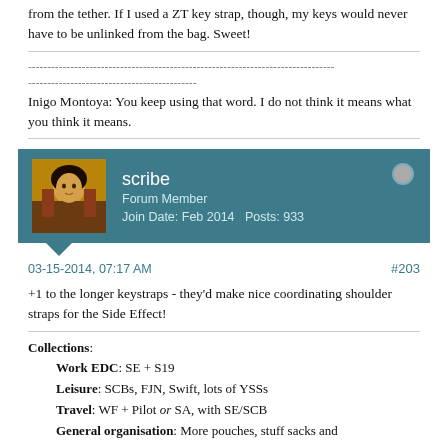from the tether. If I used a ZT key strap, though, my keys would never have to be unlinked from the bag. Sweet!
--------------------------------------------------------------------------------
--------------------------------------------
Inigo Montoya: You keep using that word. I do not think it means what you think it means.
scribe
Forum Member
Join Date: Feb 2014   Posts: 933
03-15-2014, 07:17 AM   #203
+1 to the longer keystraps - they'd make nice coordinating shoulder straps for the Side Effect!
Collections: Work EDC: SE + S19 Leisure: SCBs, FJN, Swift, lots of YSSs Travel: WF + Pilot or SA, with SE/SCB General organisation: More pouches, stuff sacks and